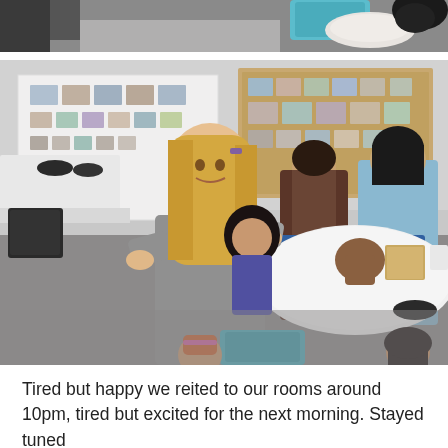[Figure (photo): Partial top crop of a photo showing people and objects on a grey carpet with a teal bag visible]
[Figure (photo): A young blonde girl smiling, holding a dark-haired doll in a community hall; two women look at photo boards on the wall in the background; dolls and craft materials on round white-clothed table]
Tired but happy we reited to our rooms around 10pm, tired but excited for the next morning. Stayed tuned